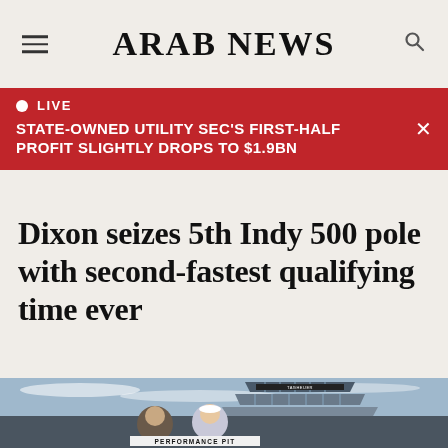ARAB NEWS
● LIVE
STATE-OWNED UTILITY SEC'S FIRST-HALF PROFIT SLIGHTLY DROPS TO $1.9BN
Dixon seizes 5th Indy 500 pole with second-fastest qualifying time ever
[Figure (photo): Two people standing in front of the Indianapolis Motor Speedway pagoda structure with a 'PERFORMANCE PIT' sign visible]